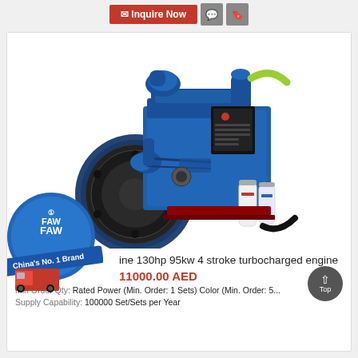Inquire Now
[Figure (photo): Blue turbocharged diesel engine (FAW brand), 4-stroke, 130hp 95kw, shown against white background with visible flywheel, filters, and various engine components.]
[Figure (logo): FAW logo badge - circular blue badge with FAW logo and text 'China's No. 1 Brand' with a red truck image.]
ine 130hp 95kw 4 stroke turbocharged engine
11000.00 AED
Min Order Qty: Rated Power (Min. Order: 1 Sets) Color (Min. Order: 5...
Supply Capability: 100000 Set/Sets per Year